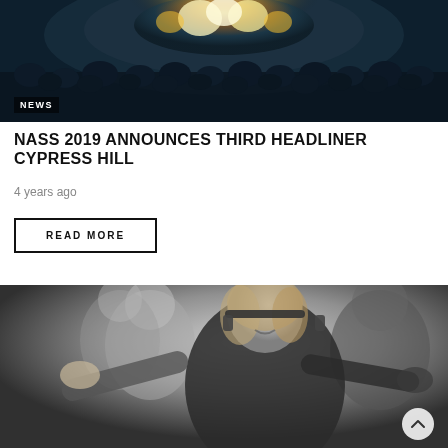[Figure (photo): Concert photo showing a crowd at an outdoor festival stage with bright stage lighting at night, with NEWS badge overlay in bottom left]
NASS 2019 ANNOUNCES THIRD HEADLINER CYPRESS HILL
4 years ago
READ MORE
[Figure (photo): Black and white photo of a female DJ with headphones around her neck, arms outstretched, performing at an event]